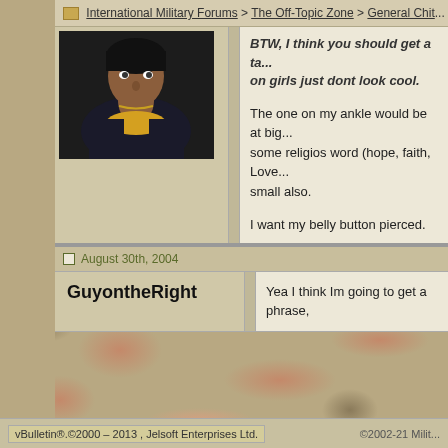International Military Forums > The Off-Topic Zone > General Chit...
[Figure (photo): Avatar photo of a person wearing dark jacket and yellow top]
BTW, I think you should get a ta... on girls just dont look cool.
The one on my ankle would be at big... some religios word (hope, faith, Love... small also.
I want my belly button pierced.
August 30th, 2004
GuyontheRight
Yea I think Im going to get a phrase,
vBulletin®.©2000 – 2013 , Jelsoft Enterprises Ltd.    ©2002-21 Milit...